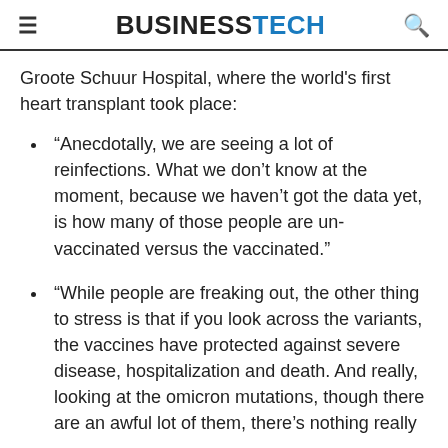BUSINESSTECH
Groote Schuur Hospital, where the world's first heart transplant took place:
“Anecdotally, we are seeing a lot of reinfections. What we don’t know at the moment, because we haven’t got the data yet, is how many of those people are un-vaccinated versus the vaccinated.”
“While people are freaking out, the other thing to stress is that if you look across the variants, the vaccines have protected against severe disease, hospitalization and death. And really, looking at the omicron mutations, though there are an awful lot of them, there’s nothing really